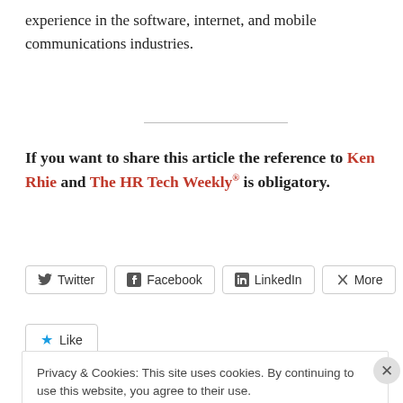experience in the software, internet, and mobile communications industries.
If you want to share this article the reference to Ken Rhie and The HR Tech Weekly® is obligatory.
[Figure (other): Social share buttons: Twitter, Facebook, LinkedIn, More]
[Figure (other): Like button with star icon]
Privacy & Cookies: This site uses cookies. By continuing to use this website, you agree to their use. To find out more, including how to control cookies, see here: Cookie Policy
Close and accept